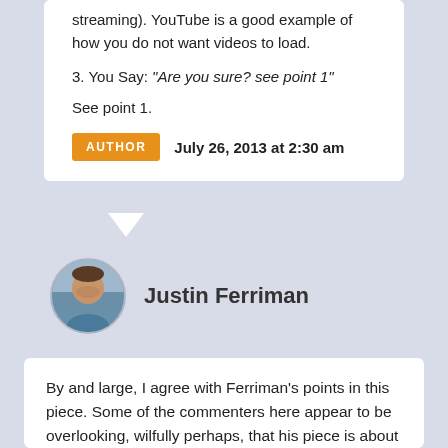streaming). YouTube is a good example of how you do not want videos to load.
3. You Say: “Are you sure? see point 1”
See point 1.
AUTHOR  July 26, 2013 at 2:30 am
Justin Ferriman
By and large, I agree with Ferriman’s points in this piece. Some of the commenters here appear to be overlooking, wilfully perhaps, that his piece is about video FOR TRAINING, not for video for reference,